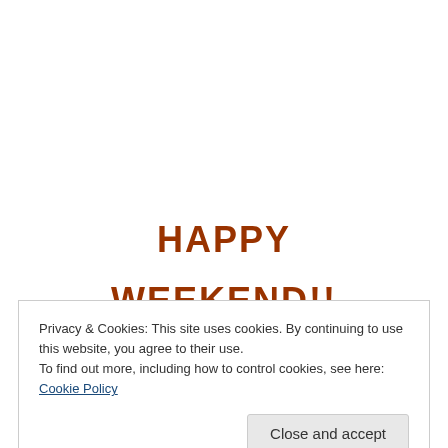HAPPY

WEEKEND!!
Privacy & Cookies: This site uses cookies. By continuing to use this website, you agree to their use.
To find out more, including how to control cookies, see here: Cookie Policy
Close and accept